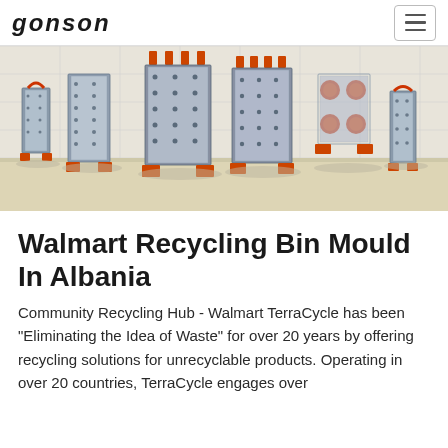GONSON
[Figure (photo): Industrial injection molds of various sizes displayed in a factory or showroom setting. Multiple metallic mold assemblies with orange components/feet stand on a light-colored floor against a white tiled wall.]
Walmart Recycling Bin Mould In Albania
Community Recycling Hub - Walmart TerraCycle has been “Eliminating the Idea of Waste” for over 20 years by offering recycling solutions for unrecyclable products. Operating in over 20 countries, TerraCycle engages over